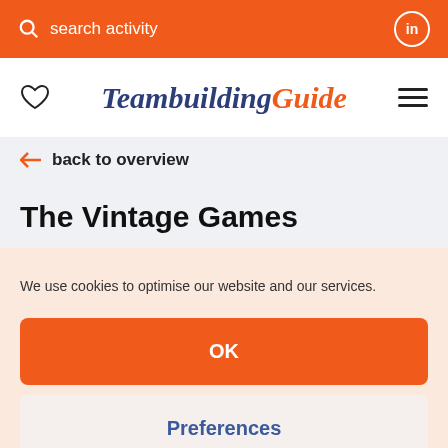search activity
[Figure (logo): TeambuildingGuide logo with heart icon and hamburger menu]
← back to overview
The Vintage Games
We use cookies to optimise our website and our services.
OK
Preferences